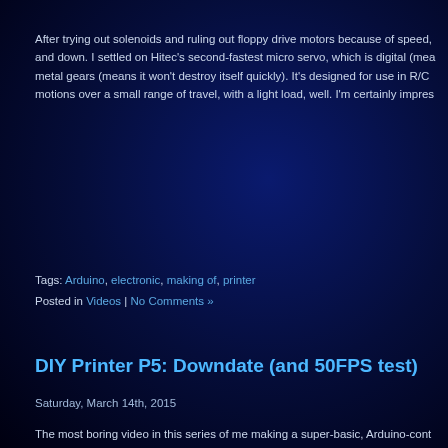After trying out solenoids and ruling out floppy drive motors because of speed, and down. I settled on Hitec's second-fastest micro servo, which is digital (mea metal gears (means it won't destroy itself quickly). It's designed for use in R/C motions over a small range of travel, with a light load, well. I'm certainly impres
Tags: Arduino, electronic, making of, printer
Posted in Videos | No Comments »
DIY Printer P5: Downdate (and 50FPS test)
Saturday, March 14th, 2015
The most boring video in this series of me making a super-basic, Arduino-cont more interesting to people who can play that, but that ended up making it out-d